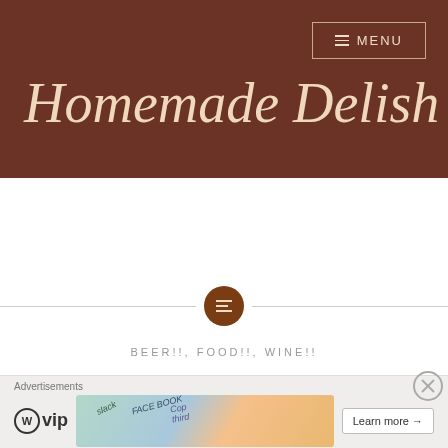Homemade Delish
[Figure (other): Decorative horizontal divider with a brown circle icon containing three horizontal lines (menu/list icon)]
BEER!!, FOOD!!, WINE!!
Taste of the Nation Philadelphia
[Figure (other): Advertisement banner: WordPress VIP logo, colorful book covers, Learn more button]